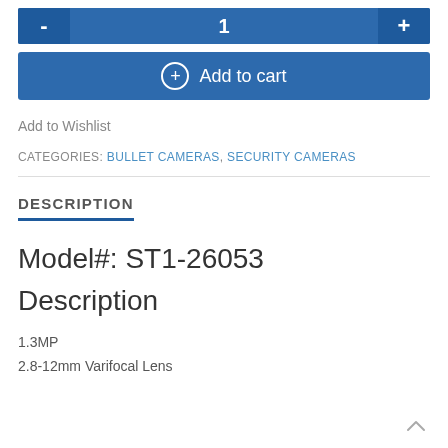[Figure (other): Quantity selector bar with minus button, quantity value '1', and plus button in blue]
[Figure (other): Add to cart button with circle-plus icon and text 'Add to cart' on blue background]
Add to Wishlist
CATEGORIES: BULLET CAMERAS, SECURITY CAMERAS
DESCRIPTION
Model#: ST1-26053
Description
1.3MP
2.8-12mm Varifocal Lens